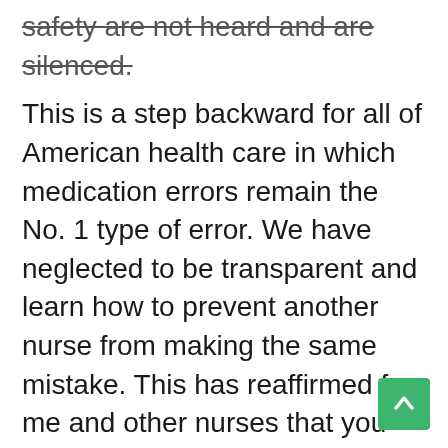safety are not heard and are silenced.
This is a step backward for all of American health care in which medication errors remain the No. 1 type of error. We have neglected to be transparent and learn how to prevent another nurse from making the same mistake. This has reaffirmed for me and other nurses that you will be asked to work yourself to exhaustion, give all your mental and physical strength and be called a hero so long as it benefits an organization or society, but when something goes wrong you will be unsympathetically discarded and made a villain. How sad.